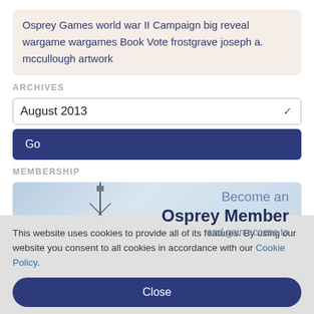Osprey Games world war II Campaign big reveal wargame wargames Book Vote frostgrave joseph a. mccullough artwork
ARCHIVES
August 2013
Go
MEMBERSHIP
[Figure (illustration): Become an Osprey Member and gain access to promotional membership banner with tower silhouette]
This website uses cookies to provide all of its features. By using our website you consent to all cookies in accordance with our Cookie Policy.
Close